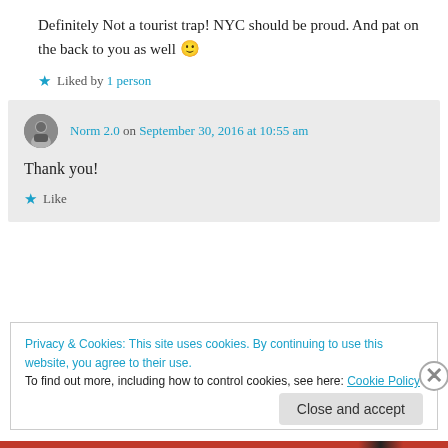Definitely Not a tourist trap! NYC should be proud. And pat on the back to you as well 🙂
★ Liked by 1 person
Norm 2.0 on September 30, 2016 at 10:55 am
Thank you!
★ Like
Privacy & Cookies: This site uses cookies. By continuing to use this website, you agree to their use.
To find out more, including how to control cookies, see here: Cookie Policy
Close and accept